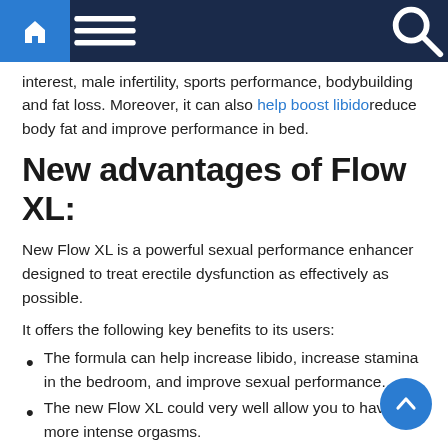Navigation bar with home, menu, and search icons
interest, male infertility, sports performance, bodybuilding and fat loss. Moreover, it can also help boost libido reduce body fat and improve performance in bed.
New advantages of Flow XL:
New Flow XL is a powerful sexual performance enhancer designed to treat erectile dysfunction as effectively as possible.
It offers the following key benefits to its users:
The formula can help increase libido, increase stamina in the bedroom, and improve sexual performance.
The new Flow XL could very well allow you to have more intense orgasms.
It claims to increase testosterone levels and blood flow to